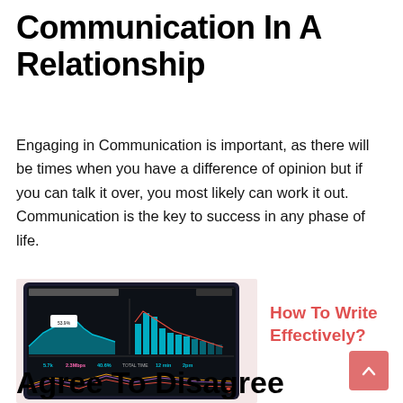Communication In A Relationship
Engaging in Communication is important, as there will be times when you have a difference of opinion but if you can talk it over, you most likely can work it out. Communication is the key to success in any phase of life.
[Figure (screenshot): Screenshot of a tablet displaying a dark analytics dashboard with area/bar charts showing user data over 7 days using Mixpanel, with blue area charts and colored line charts at the bottom, framed by green leaves in the background]
How To Write Effectively?
Agree To Disagree